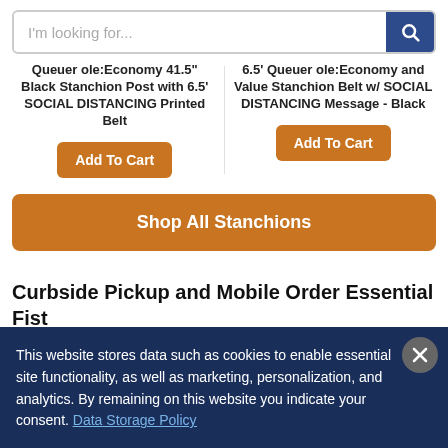I'm looking for...
Queuer ole:Economy 41.5" Black Stanchion Post with 6.5' SOCIAL DISTANCING Printed Belt
6.5' Queuer ole:Economy and Value Stanchion Belt w/ SOCIAL DISTANCING Message - Black
Add To Cart
Add To Cart
Shop All Stanchions
Curbside Pickup and Mobile Order Essential Fist...
This website stores data such as cookies to enable essential site functionality, as well as marketing, personalization, and analytics. By remaining on this website you indicate your consent. Data Storage Policy